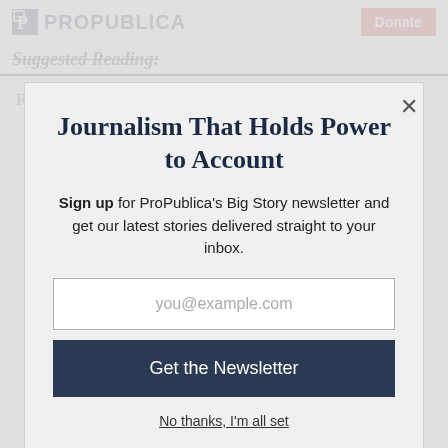ProPublica | Donate
Suggested Reading:
Read our reporting on how a renowned scientist
Journalism That Holds Power to Account
Sign up for ProPublica's Big Story newsletter and get our latest stories delivered straight to your inbox.
you@example.com
Get the Newsletter
No thanks, I'm all set
This site is protected by reCAPTCHA and the Google Privacy Policy and Terms of Service apply.